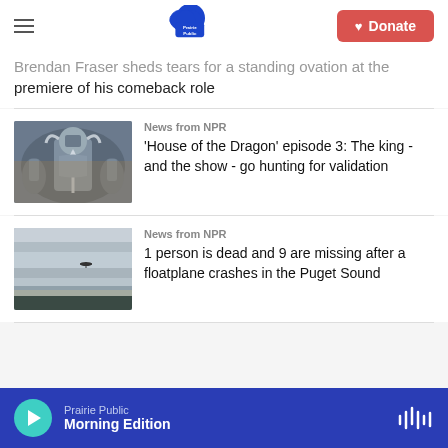Prairie Public | Donate
Brendan Fraser sheds tears for a standing ovation at the premiere of his comeback role
News from NPR
[Figure (photo): Armored warrior figure in silver armor holding a weapon, surrounded by others in similar armor — appears to be from House of the Dragon TV show]
'House of the Dragon' episode 3: The king - and the show - go hunting for validation
News from NPR
[Figure (photo): Aerial/wide shot of a calm body of water with a small aircraft flying low over it, near a dark shoreline and grey sky]
1 person is dead and 9 are missing after a floatplane crashes in the Puget Sound
Prairie Public | Morning Edition